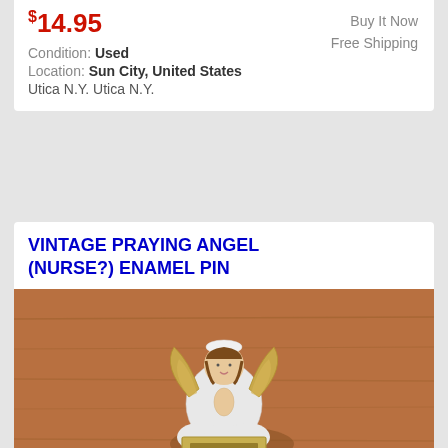$14.95
Buy It Now
Free Shipping
Condition: Used
Location: Sun City, United States
Utica N.Y. Utica N.Y.
VINTAGE PRAYING ANGEL (NURSE?) ENAMEL PIN
[Figure (photo): Vintage praying angel (nurse?) enamel pin photographed on a wooden surface. The pin shows a small white angel figure with gold wings in a praying pose, with a gold rectangular slot/badge holder at the bottom.]
$2.99
Buy It Now
$3.50 Shipping
Condition: Used